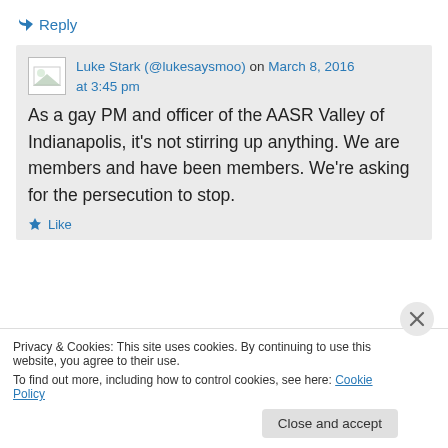↳ Reply
Luke Stark (@lukesaysmoo) on March 8, 2016 at 3:45 pm
As a gay PM and officer of the AASR Valley of Indianapolis, it's not stirring up anything. We are members and have been members. We're asking for the persecution to stop.
★ Like
Privacy & Cookies: This site uses cookies. By continuing to use this website, you agree to their use.
To find out more, including how to control cookies, see here: Cookie Policy
Close and accept